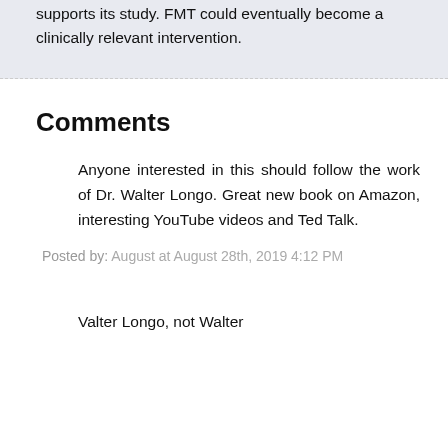supports its study. FMT could eventually become a clinically relevant intervention.
Comments
Anyone interested in this should follow the work of Dr. Walter Longo. Great new book on Amazon, interesting YouTube videos and Ted Talk.
Posted by: August at August 28th, 2019 4:12 PM
Valter Longo, not Walter